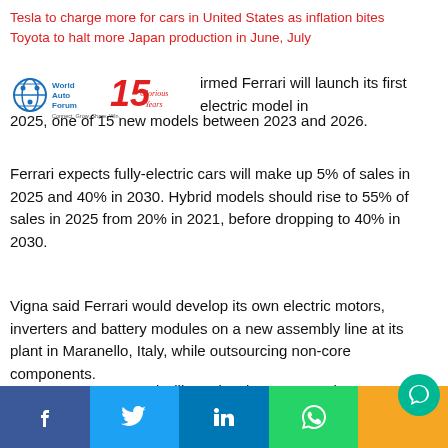Tesla to charge more for cars in United States as inflation bites
Toyota to halt more Japan production in June, July
[Figure (logo): World Auto Forum 15 glorious years logo]
...irmed Ferrari will launch its first electric model in 2025, one of 15 new models between 2023 and 2026.
Ferrari expects fully-electric cars will make up 5% of sales in 2025 and 40% in 2030. Hybrid models should rise to 55% of sales in 2025 from 20% in 2021, before dropping to 40% in 2030.
Vigna said Ferrari would develop its own electric motors, inverters and battery modules on a new assembly line at its plant in Maranello, Italy, while outsourcing non-core components.
To save money Ferrari will not develop an operating system for EVs. In contrast, other automakers, including Tesla (TSLA.O) and Mercedes (MBGn.DE), say proprietary